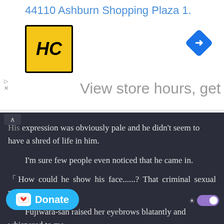[Figure (other): Advertisement banner showing HC logo, navigation icon, address '44110 Ashburn Shopping Plaza 1.' and text 'View store hours, get']
His expression was obviously pale and he didn't seem to have a shred of life in him.
I'm sure few people even noticed that he came in.
「How could he show his face......? That criminal sexual predator」
Fujiwara-san raised her eyebrows blatantly and whispered to me.
「I think you can forgive him? Because Tachioka-kun was in a ...He'll never be able to attack a girl a...